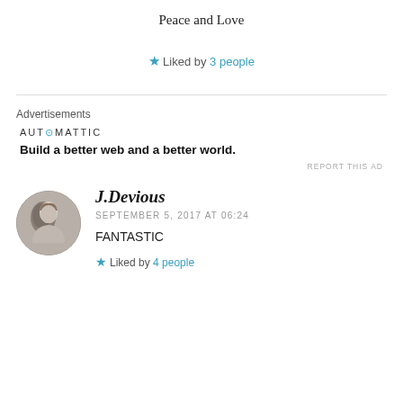Peace and Love
★ Liked by 3 people
Advertisements
[Figure (logo): Automattic logo with tagline: Build a better web and a better world.]
REPORT THIS AD
J.Devious
SEPTEMBER 5, 2017 AT 06:24
FANTASTIC
★ Liked by 4 people